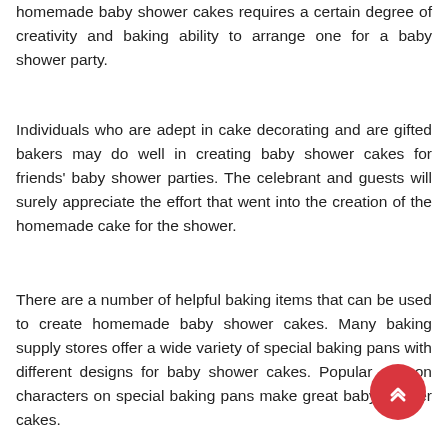homemade baby shower cakes requires a certain degree of creativity and baking ability to arrange one for a baby shower party.
Individuals who are adept in cake decorating and are gifted bakers may do well in creating baby shower cakes for friends' baby shower parties. The celebrant and guests will surely appreciate the effort that went into the creation of the homemade cake for the shower.
There are a number of helpful baking items that can be used to create homemade baby shower cakes. Many baking supply stores offer a wide variety of special baking pans with different designs for baby shower cakes. Popular cartoon characters on special baking pans make great baby shower cakes.